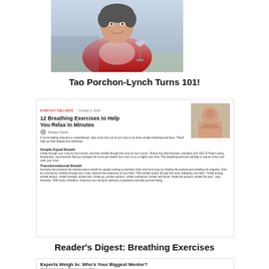[Figure (photo): Elderly woman in red jacket smiling and holding a wine glass, seated outdoors]
Tao Porchon-Lynch Turns 101!
[Figure (screenshot): Screenshot of Reader's Digest article titled '12 Breathing Exercises to Help You Relax in Minutes' with article text and an image of a person meditating]
Reader's Digest: Breathing Exercises
[Figure (screenshot): Screenshot of article titled 'Experts Weigh In: Who's Your Biggest Mentor?' with section 'My Mother' and photo of two women]